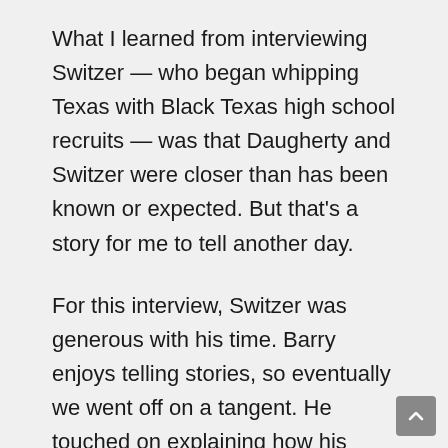What I learned from interviewing Switzer — who began whipping Texas with Black Texas high school recruits — was that Daugherty and Switzer were closer than has been known or expected. But that's a story for me to tell another day.
For this interview, Switzer was generous with his time. Barry enjoys telling stories, so eventually we went off on a tangent. He touched on explaining how his 1970s and 1980s wishbone offense could blend with today's spread offenses.
“I could run the same stuff today – the misdirection and options,” Switzer said. “The wishbone and the spread offense attack the corners and perimeters